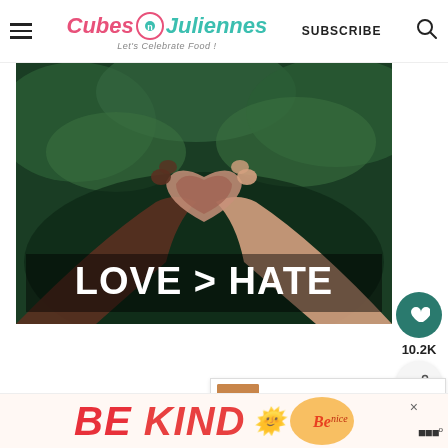Cubes n Juliennes - Let's Celebrate Food! | SUBSCRIBE
[Figure (photo): Two hands forming a heart shape against a green background, with text 'LOVE > HATE' in white bold letters at the bottom of the image.]
10.2K
WHAT'S NEXT → How To Make Perfect India...
2. Now take a ball, roll it out into a thin dis
[Figure (infographic): Advertisement banner reading 'BE KIND' in large red/orange italic letters with decorative script and an X close button.]